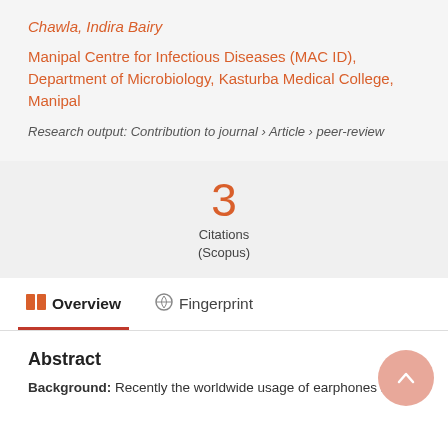Chawla, Indira Bairy
Manipal Centre for Infectious Diseases (MAC ID), Department of Microbiology, Kasturba Medical College, Manipal
Research output: Contribution to journal › Article › peer-review
[Figure (infographic): Citation count badge showing 3 Citations (Scopus)]
Overview
Fingerprint
Abstract
Background: Recently the worldwide usage of earphones has